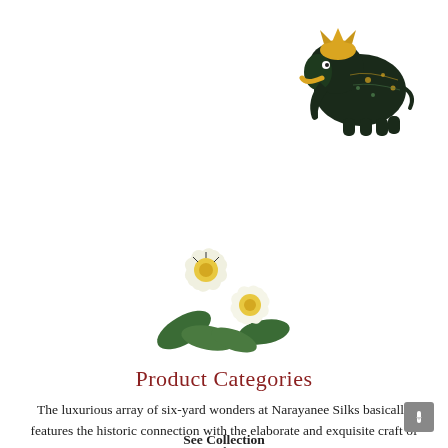[Figure (illustration): Decorative illustration of a dark ornate elephant with gold tusks and colorful decorations, positioned top right]
[Figure (illustration): Decorative illustration of two white flowers with yellow centers and green leaves, centered on the page]
Product Categories
The luxurious array of six-yard wonders at Narayanee Silks basically features the historic connection with the elaborate and exquisite craft of India.
See Collection